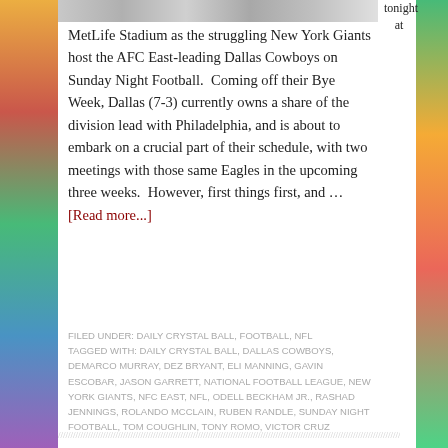[Figure (photo): Sports photo strip at top showing football players]
tonight at MetLife Stadium as the struggling New York Giants host the AFC East-leading Dallas Cowboys on Sunday Night Football.  Coming off their Bye Week, Dallas (7-3) currently owns a share of the division lead with Philadelphia, and is about to embark on a crucial part of their schedule, with two meetings with those same Eagles in the upcoming three weeks.  However, first things first, and … [Read more...]
FILED UNDER: DAILY CRYSTAL BALL, FOOTBALL, NFL
TAGGED WITH: DAILY CRYSTAL BALL, DALLAS COWBOYS, DEMARCO MURRAY, DEZ BRYANT, ELI MANNING, GAVIN ESCOBAR, JASON GARRETT, NATIONAL FOOTBALL LEAGUE, NEW YORK GIANTS, NFC EAST, NFL, ODELL BECKHAM JR., RASHAD JENNINGS, ROLANDO MCCLAIN, RUBEN RANDLE, SUNDAY NIGHT FOOTBALL, TOM COUGHLIN, TONY ROMO, VICTOR CRUZ